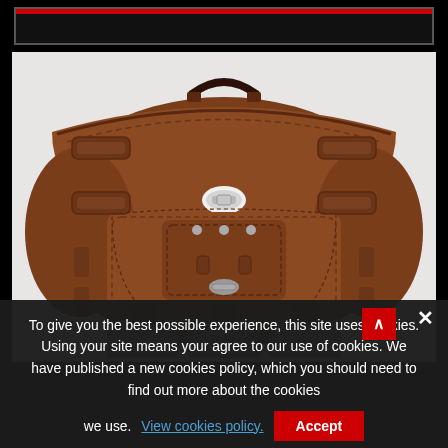[Figure (photo): Brown leather motorcycle saddlebag with three buckles at the bottom, two side straps with roller buckles, a center front pocket with toggle clasp, a top carry handle, and a silver twist-lock closure on the flap. The bag is photographed against a light grey/white background.]
To give you the best possible experience, this site uses cookies. Using your site means your agree to our use of cookies. We have published a new cookies policy, which you should need to find out more about the cookies we use. View cookies policy. Accept